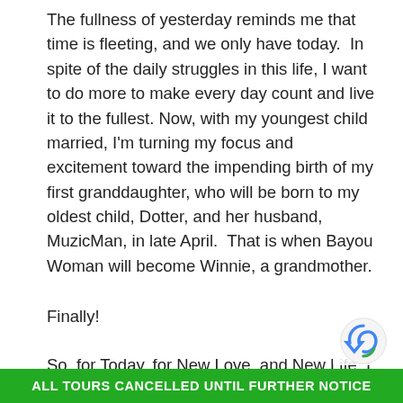The fullness of yesterday reminds me that time is fleeting, and we only have today.  In spite of the daily struggles in this life, I want to do more to make every day count and live it to the fullest. Now, with my youngest child married, I'm turning my focus and excitement toward the impending birth of my first granddaughter, who will be born to my oldest child, Dotter, and her husband, MuzicMan, in late April.  That is when Bayou Woman will become Winnie, a grandmother.
Finally!
So, for Today, for New Love, and New Life, I am your humbly grateful,
ALL TOURS CANCELLED UNTIL FURTHER NOTICE